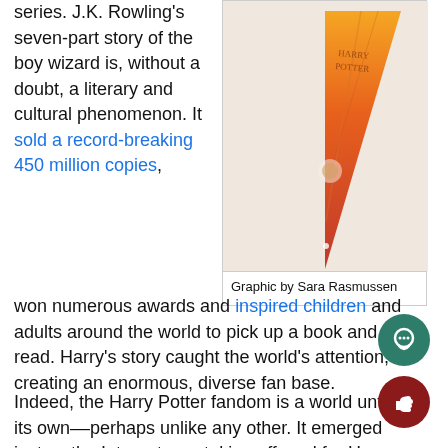series. J.K. Rowling's seven-part story of the boy wizard is, without a doubt, a literary and cultural phenomenon. It sold a record-breaking 450 million copies, won numerous awards and inspired children and adults around the world to pick up a book and read. Harry's story caught the world's attention, creating an enormous, diverse fan base.
[Figure (illustration): Graphic illustration showing a triangular/conical shape with orange and red colors, resembling a Harry Potter themed graphic element.]
Graphic by Sara Rasmussen
Indeed, the Harry Potter fandom is a world unto its own––perhaps unlike any other. It emerged just as the Internet was taking off, and for Harry Potter-themed